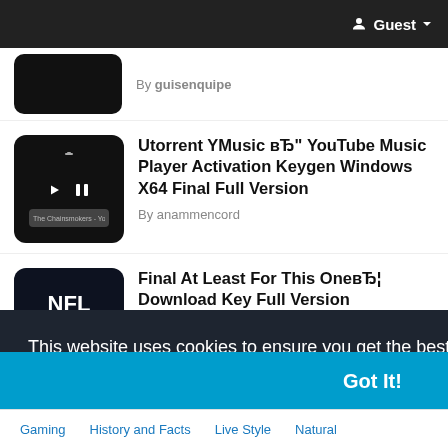Guest
By guisenquipe
Utorrent YMusic вЂ" YouTube Music Player Activation Keygen Windows X64 Final Full Version
By anammencord
Final At Least For This OneвЂ¦ Download Key Full Version
This website uses cookies to ensure you get the best experience on our website.
Learn More
Got It!
Gaming  History and Facts  Live Style  Natural